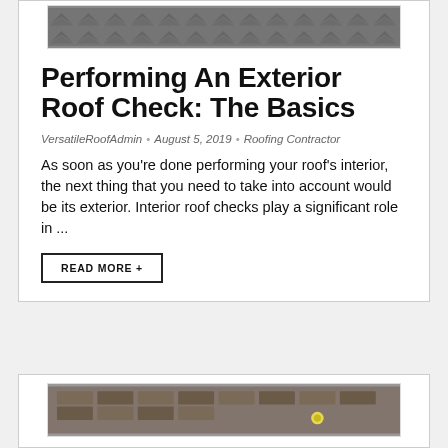[Figure (photo): Partial view of a dark shingle roof, cropped at top]
Performing An Exterior Roof Check: The Basics
VersatileRoofAdmin  •  August 5, 2019  •  Roofing Contractor
As soon as you're done performing your roof's interior, the next thing that you need to take into account would be its exterior. Interior roof checks play a significant role in ...
READ MORE +
[Figure (photo): Partial view of a roof with shingles and a small yellow marker visible]